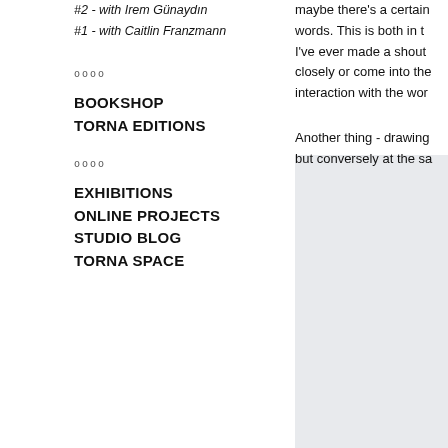#2 - with Irem Günaydın
#1 - with Caitlin Franzmann
oooo
BOOKSHOP
TORNA EDITIONS
oooo
EXHIBITIONS
ONLINE PROJECTS
STUDIO BLOG
TORNA SPACE
maybe there's a certain words. This is both in t I've ever made a shout closely or come into the interaction with the wor
Another thing - drawing but conversely at the sa
[Figure (photo): Light gray rectangular image/placeholder on the right side of the page]